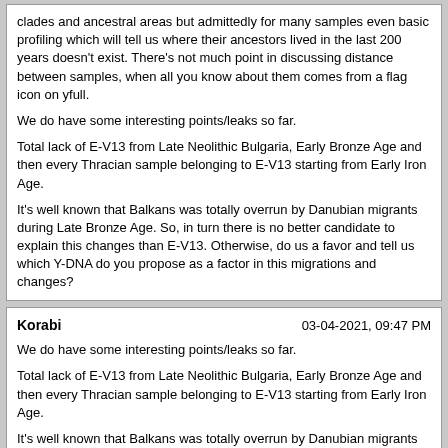clades and ancestral areas but admittedly for many samples even basic profiling which will tell us where their ancestors lived in the last 200 years doesn't exist. There's not much point in discussing distance between samples, when all you know about them comes from a flag icon on yfull.

We do have some interesting points/leaks so far.

Total lack of E-V13 from Late Neolithic Bulgaria, Early Bronze Age and then every Thracian sample belonging to E-V13 starting from Early Iron Age.

It's well known that Balkans was totally overrun by Danubian migrants during Late Bronze Age. So, in turn there is no better candidate to explain this changes than E-V13. Otherwise, do us a favor and tell us which Y-DNA do you propose as a factor in this migrations and changes?
Korabi | 03-04-2021, 09:47 PM

We do have some interesting points/leaks so far.

Total lack of E-V13 from Late Neolithic Bulgaria, Early Bronze Age and then every Thracian sample belonging to E-V13 starting from Early Iron Age.

It's well known that Balkans was totally overrun by Danubian migrants during Late Bronze Age. So, in turn there is no better candidate to explain this changes than E-V13. Otherwise, do us a favor and tell us which Y-DNA do you propose as a factor in this migrations and changes?

Is it really logical to link whole migration events of a culture/cultures with one haplogroup?

I highly doubt any ancient nigration from the Danube was that homogeneous. Not disagreeing with your underlying statement. I'm just sure there's more than one haplogroup involved in that process.
Hawk | 03-04-2021, 09:52 PM